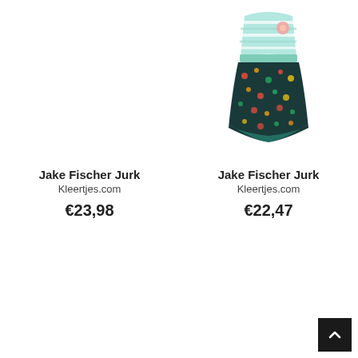[Figure (photo): Left product image area - blank/empty in this view for Jake Fischer Jurk]
Jake Fischer Jurk
Kleertjes.com
€23,98
[Figure (photo): Right product: Jake Fischer Jurk - a girl's dress with mint/white striped top with flower detail and colorful floral skirt]
Jake Fischer Jurk
Kleertjes.com
€22,47